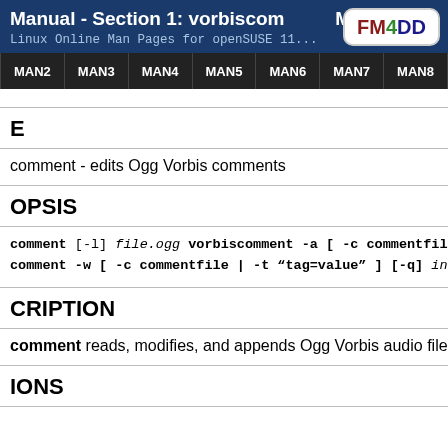Manual - Section 1: vorbiscomment
Linux Online Man Pages for openSUSE 11...
E
comment - edits Ogg Vorbis comments
OPSIS
vorbiscomment [-l] file.ogg vorbiscomment -a [ -c commentfile | -t "t... vorbiscomment -w [ -c commentfile | -t "tag=value" ] [-q] in.ogg [out.ogg]
CRIPTION
vorbiscomment reads, modifies, and appends Ogg Vorbis audio file metadata ta...
IONS